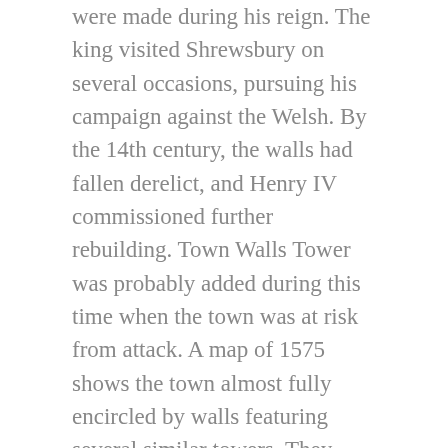were made during his reign. The king visited Shrewsbury on several occasions, pursuing his campaign against the Welsh. By the 14th century, the walls had fallen derelict, and Henry IV commissioned further rebuilding. Town Walls Tower was probably added during this time when the town was at risk from attack. A map of 1575 shows the town almost fully encircled by walls featuring several similar towers. They were a means to observe land around the town and river. All gone now except this one.
But today we're going to walk through the